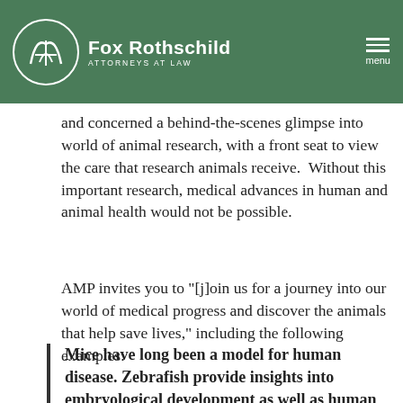modern animal research.  "Come See Our World" is a digital invitation into the world of "essential animal research," that provides all those interested
[Figure (logo): Fox Rothschild Attorneys At Law logo — white circle with stylized gavel/scales icon on green background bar, with hamburger menu icon on right]
and concerned a behind-the-scenes glimpse into world of animal research, with a front seat to view the care that research animals receive.  Without this important research, medical advances in human and animal health would not be possible.
AMP invites you to "[j]oin us for a journey into our world of medical progress and discover the animals that help save lives," including the following examples:
Mice have long been a model for human disease. Zebrafish provide insights into embryological development as well as human disease.  Dogs and Pigs were